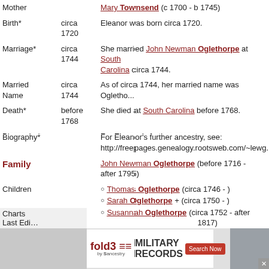| Field | Date | Detail |
| --- | --- | --- |
| Mother |  | Mary Townsend (c 1700 - b 1745) |
| Birth* | circa 1720 | Eleanor was born circa 1720. |
| Marriage* | circa 1744 | She married John Newman Oglethorpe at South Carolina circa 1744. |
| Married Name | circa 1744 | As of circa 1744, her married name was Oglethorpe. |
| Death* | before 1768 | She died at South Carolina before 1768. |
| Biography* |  | For Eleanor's further ancestry, see: http://freepages.genealogy.rootsweb.com/~lewg... |
| Family |  | John Newman Oglethorpe (before 1716 - after 1795) |
| Children |  | Thomas Oglethorpe (circa 1746 - )
Sarah Oglethorpe+ (circa 1750 - )
Susannah Oglethorpe (circa 1752 - after 1817)
Rebecca Oglethorpe (circa 1754 - ) |
[Figure (other): Advertisement banner for fold3 Military Records by Ancestry with Search Now button and soldier photo]
Charts
Last Ed...